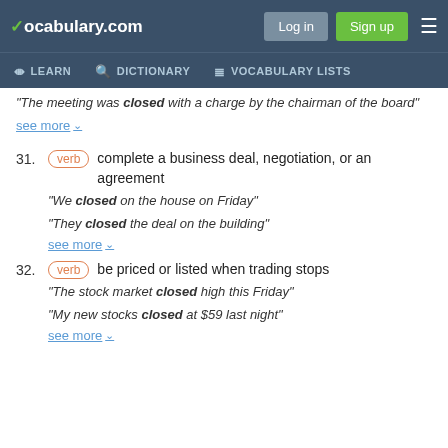vocabulary.com — Log in | Sign up | LEARN | DICTIONARY | VOCABULARY LISTS
“The meeting was closed with a charge by the chairman of the board”
see more
31. verb — complete a business deal, negotiation, or an agreement
“We closed on the house on Friday”
“They closed the deal on the building”
see more
32. verb — be priced or listed when trading stops
“The stock market closed high this Friday”
“My new stocks closed at $59 last night”
see more